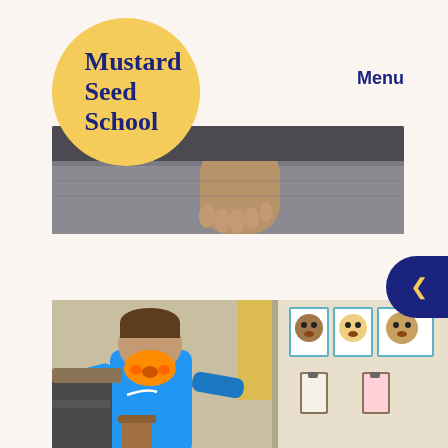[Figure (logo): Mustard Seed School logo: yellow circle with dark navy bold text reading 'Mustard Seed School']
Menu
[Figure (photo): Close-up photo of a child's hands on a patterned carpet/rug, viewed from above, in a classroom setting]
[Figure (photo): Photo of a young child wearing a blue Nike long-sleeve shirt and an orange lion face mask, running or moving in a classroom. Behind the child is a hallway and to the right are children's portrait artworks displayed on the wall, and clipboards hanging below them.]